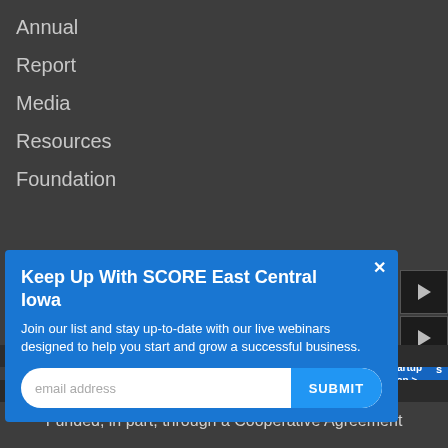Annual
Report
Media
Resources
Foundation
Keep Up With SCORE East Central Iowa
Join our list and stay up-to-date with our live webinars designed to help you start and grow a successful business.
email address
SUBMIT
Copyright © 2022 SCORE Association, www.score.org
Funded, in part, through a Cooperative Agreement